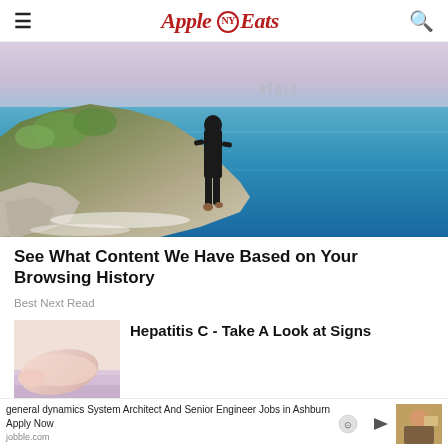Apple Eats
[Figure (photo): Person standing on rocky coastal cliff overlooking ocean with distant city skyline]
See What Content We Have Based on Your Browsing History
Best Next Read
[Figure (photo): Close-up of person's arm, medical/injection related image]
Hepatitis C - Take A Look at Signs
general dynamics System Architect And Senior Engineer Jobs in Ashburn Apply Now jobble.com